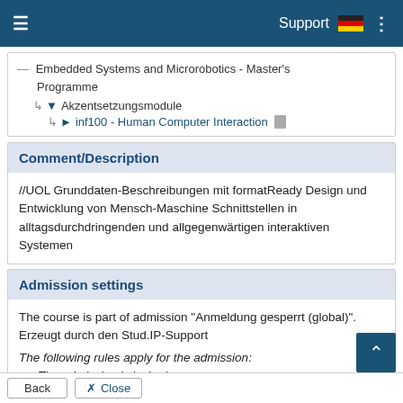Support
Embedded Systems and Microrobotics - Master's Programme
└ ▾ Akzentsetzungsmodule
  └ > inf100 - Human Computer Interaction
Comment/Description
//UOL Grunddaten-Beschreibungen mit formatReady Design und Entwicklung von Mensch-Maschine Schnittstellen in alltagsdurchdringenden und allgegenwärtigen interaktiven Systemen
Admission settings
The course is part of admission "Anmeldung gesperrt (global)". Erzeugt durch den Stud.IP-Support
The following rules apply for the admission:
The admission is locked.